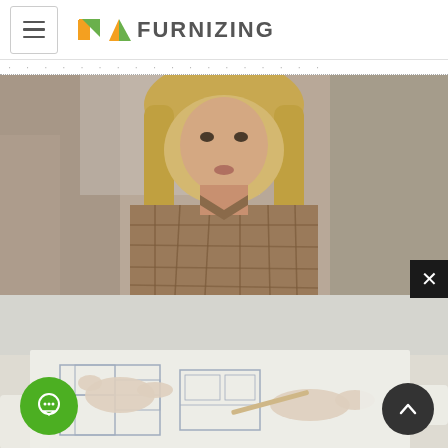≡ FURNIZING (logo with hamburger menu)
[Figure (photo): Two photos stacked: top photo shows a woman with long blonde hair wearing a plaid/flannel shirt, shown from shoulders up, appears to be in conversation. Bottom photo is faded/dimmed and shows hands pointing at architectural blueprints/floor plans on a table, with people reviewing documents together. A black close (X) button overlays the right edge between the two images. A green chat button and dark grey scroll-to-top button appear at the bottom corners.]